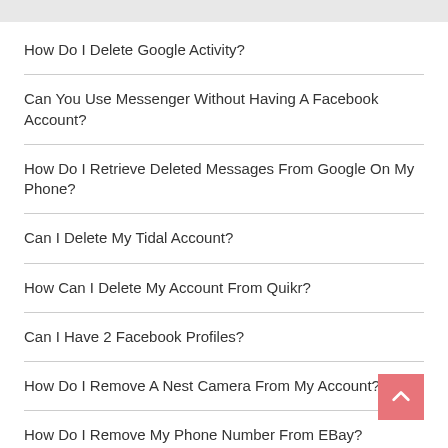How Do I Delete Google Activity?
Can You Use Messenger Without Having A Facebook Account?
How Do I Retrieve Deleted Messages From Google On My Phone?
Can I Delete My Tidal Account?
How Can I Delete My Account From Quikr?
Can I Have 2 Facebook Profiles?
How Do I Remove A Nest Camera From My Account?
How Do I Remove My Phone Number From EBay?
How Do I Delete A Label In Gmail On My Phone?